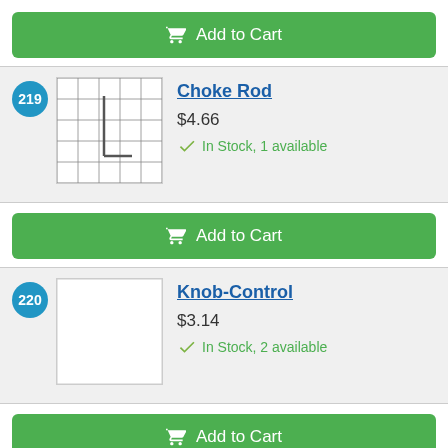[Figure (other): Green Add to Cart button at top of page]
[Figure (other): Item 219 badge circle with number 219]
[Figure (other): Product image of Choke Rod showing an L-shaped metal rod on a grid background]
Choke Rod
$4.66
In Stock, 1 available
[Figure (other): Green Add to Cart button for Choke Rod]
[Figure (other): Item 220 badge circle with number 220]
[Figure (other): Product image of Knob-Control, blank white image]
Knob-Control
$3.14
In Stock, 2 available
[Figure (other): Green Add to Cart button for Knob-Control]